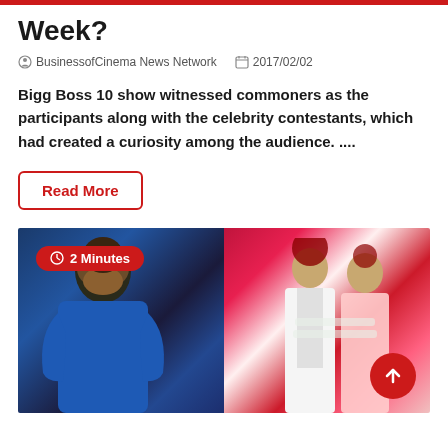Week?
BusinessofCinema News Network  2017/02/02
Bigg Boss 10 show witnessed commoners as the participants along with the celebrity contestants, which had created a curiosity among the audience. ....
Read More
[Figure (photo): Photo showing two images side by side: left side a man in a blue shirt reclining, right side a couple in traditional Indian wedding attire (bride and groom). A red badge with clock icon reads '2 Minutes'. A red circular up-arrow button appears in the bottom right.]